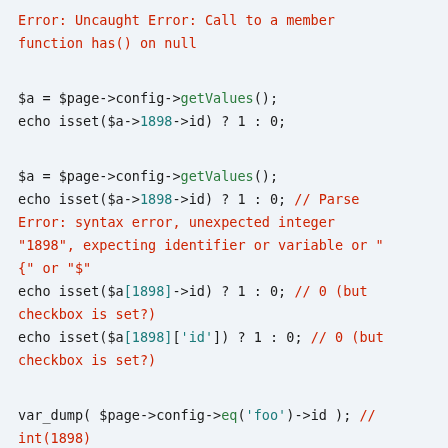Error: Uncaught Error: Call to a member function has() on null

$a = $page->config->getValues();
echo isset($a->1898->id) ? 1 : 0;

$a = $page->config->getValues();
echo isset($a->1898->id) ? 1 : 0; // Parse Error: syntax error, unexpected integer "1898", expecting identifier or variable or "{" or "$"
echo isset($a[1898]->id) ? 1 : 0; // 0 (but checkbox is set?)
echo isset($a[1898]['id']) ? 1 : 0; // 0 (but checkbox is set?)

var_dump( $page->config->eq('foo')->id ); // int(1898)
var_dump( $page->config->eq('foo') ); // wirearray